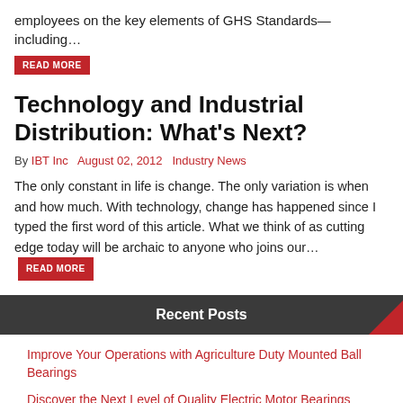employees on the key elements of GHS Standards—including…
READ MORE
Technology and Industrial Distribution: What's Next?
By IBT Inc   August 02, 2012   Industry News
The only constant in life is change. The only variation is when and how much. With technology, change has happened since I typed the first word of this article. What we think of as cutting edge today will be archaic to anyone who joins our… READ MORE
Recent Posts
Improve Your Operations with Agriculture Duty Mounted Ball Bearings
Discover the Next Level of Quality Electric Motor Bearings